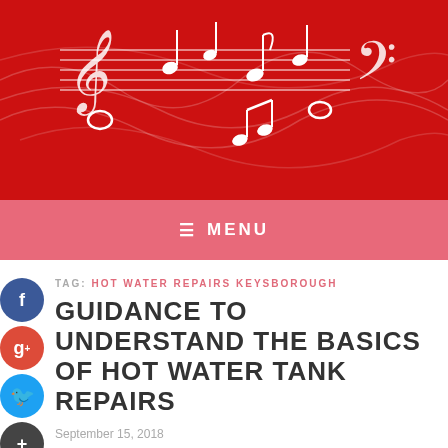[Figure (illustration): Red banner with white musical notes, clef symbols, and staff lines on a red gradient background]
≡ MENU
TAG: HOT WATER REPAIRS KEYSBOROUGH
GUIDANCE TO UNDERSTAND THE BASICS OF HOT WATER TANK REPAIRS
September 15, 2018